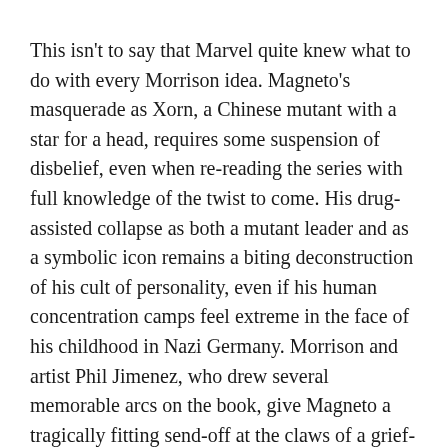This isn't to say that Marvel quite knew what to do with every Morrison idea. Magneto's masquerade as Xorn, a Chinese mutant with a star for a head, requires some suspension of disbelief, even when re-reading the series with full knowledge of the twist to come. His drug-assisted collapse as both a mutant leader and as a symbolic icon remains a biting deconstruction of his cult of personality, even if his human concentration camps feel extreme in the face of his childhood in Nazi Germany. Morrison and artist Phil Jimenez, who drew several memorable arcs on the book, give Magneto a tragically fitting send-off at the claws of a grief-stricken Wolverine, only to have New X-Men's most important long-running plot undone and needlessly complicated mere months later by Marvel editorial with the reveal that Xorn really was Xorn all along, and that the real Magneto—actually, it's better if you just pretend anything